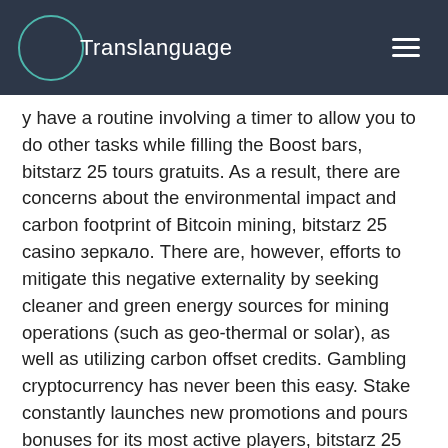Translanguage
y have a routine involving a timer to allow you to do other tasks while filling the Boost bars, bitstarz 25 tours gratuits. As a result, there are concerns about the environmental impact and carbon footprint of Bitcoin mining, bitstarz 25 casino зеркало. There are, however, efforts to mitigate this negative externality by seeking cleaner and green energy sources for mining operations (such as geo-thermal or solar), as well as utilizing carbon offset credits. Gambling cryptocurrency has never been this easy. Stake constantly launches new promotions and pours bonuses for its most active players, bitstarz 25 фриспинов. FortuneJack is also a highly trusted and safe betting site, with an impeccable security record and a dedicated customer service team on hand to help with any issues. For an all-round great